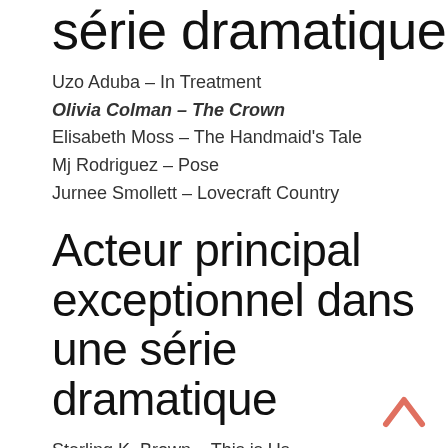série dramatique
Uzo Aduba – In Treatment
Olivia Colman – The Crown
Elisabeth Moss – The Handmaid's Tale
Mj Rodriguez – Pose
Jurnee Smollett – Lovecraft Country
Acteur principal exceptionnel dans une série dramatique
Sterling K. Brown – This is Us
Jonathan Majors – Lovecraft Country
Josh O'Connor – The Crown